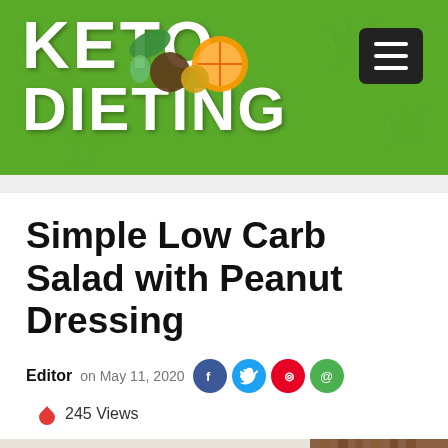KETO DIETING
Simple Low Carb Salad with Peanut Dressing
Editor on May 11, 2020  245 Views
[Figure (photo): Food salad photo showing greens and a fork on a wooden surface]